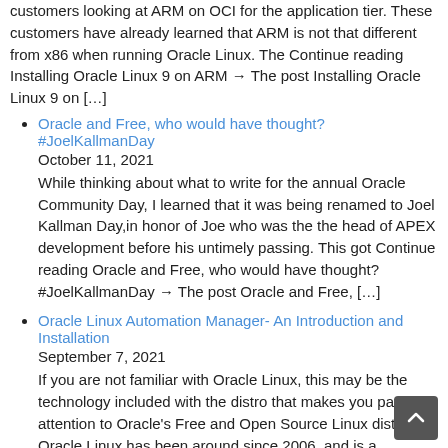customers looking at ARM on OCI for the application tier. These customers have already learned that ARM is not that different from x86 when running Oracle Linux. The Continue reading Installing Oracle Linux 9 on ARM → The post Installing Oracle Linux 9 on […]
Oracle and Free, who would have thought? #JoelKallmanDay
October 11, 2021
While thinking about what to write for the annual Oracle Community Day, I learned that it was being renamed to Joel Kallman Day,in honor of Joe who was the the head of APEX development before his untimely passing.  This got Continue reading Oracle and Free, who would have thought? #JoelKallmanDay → The post Oracle and Free, […]
Oracle Linux Automation Manager- An Introduction and Installation
September 7, 2021
If you are not familiar with Oracle Linux, this may be the technology included with the distro that makes you pay attention to Oracle's Free and Open Source Linux distro. Oracle Linux has been around since 2006, and is a Continue reading Oracle Linux Automation Manager- An Introduction and Installation → The post Oracle Linux Automation […]
A Secure Install for Oracle Linux April 6, 2021